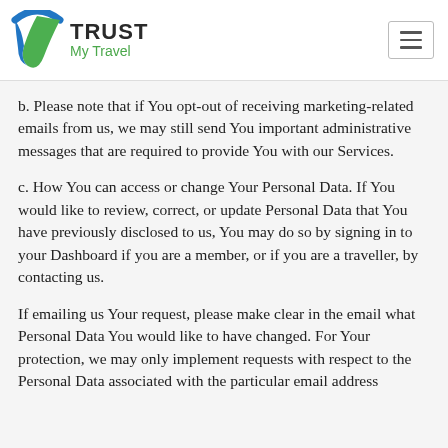Trust My Travel
b. Please note that if You opt-out of receiving marketing-related emails from us, we may still send You important administrative messages that are required to provide You with our Services.
c. How You can access or change Your Personal Data. If You would like to review, correct, or update Personal Data that You have previously disclosed to us, You may do so by signing in to your Dashboard if you are a member, or if you are a traveller, by contacting us.
If emailing us Your request, please make clear in the email what Personal Data You would like to have changed. For Your protection, we may only implement requests with respect to the Personal Data associated with the particular email address that You use to send us Your request, and we may need to